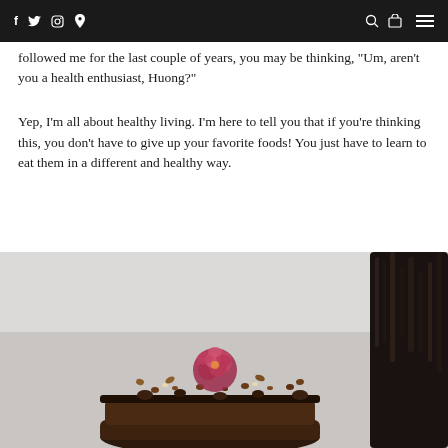f  twitter  instagram  pinterest  [search] [cart] [menu]
followed me for the last couple of years, you may be thinking, “Um, aren’t you a health enthusiast, Huong?”
Yep, I’m all about healthy living. I’m here to tell you that if you’re thinking this, you don’t have to give up your favorite foods! You just have to learn to eat them in a different and healthy way.
[Figure (photo): Close-up photo of chocolate dessert topped with dried rose petals and chocolate chips, with a dark textured object in the background right, on a light grey/white surface.]